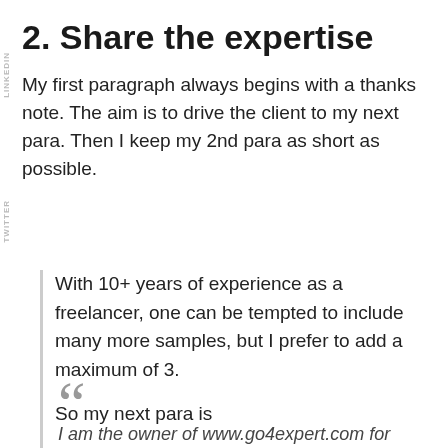2. Share the expertise
My first paragraph always begins with a thanks note. The aim is to drive the client to my next para. Then I keep my 2nd para as short as possible.
With 10+ years of experience as a freelancer, one can be tempted to include many more samples, but I prefer to add a maximum of 3.
So my next para is
“I am the owner of www.go4expert.com for